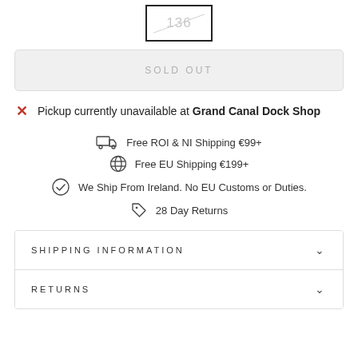[Figure (other): Size selector box showing '136' with a diagonal strikethrough line, indicating sold out size]
SOLD OUT
Pickup currently unavailable at Grand Canal Dock Shop
Free ROI & NI Shipping €99+
Free EU Shipping €199+
We Ship From Ireland. No EU Customs or Duties.
28 Day Returns
SHIPPING INFORMATION
RETURNS